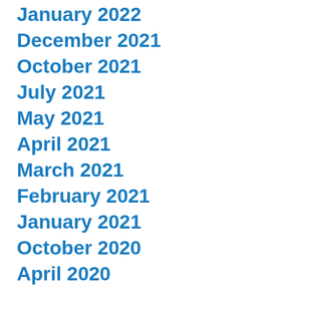January 2022
December 2021
October 2021
July 2021
May 2021
April 2021
March 2021
February 2021
January 2021
October 2020
April 2020